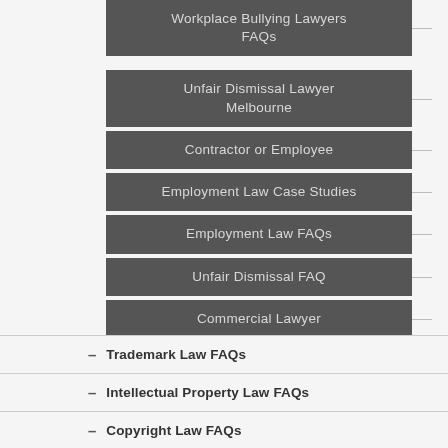Workplace Bullying Lawyers FAQs
Unfair Dismissal Lawyer Melbourne
Contractor or Employee
Employment Law Case Studies
Employment Law FAQs
Unfair Dismissal FAQ
Commercial Lawyer
Trademark Law FAQs
Intellectual Property Law FAQs
Copyright Law FAQs